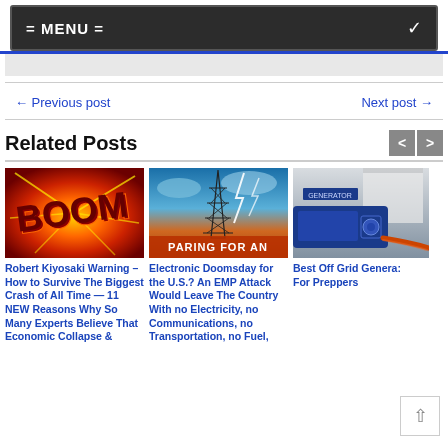= MENU =
← Previous post
Next post →
Related Posts
[Figure (photo): BOOM graphic with orange/red explosion background]
Robert Kiyosaki Warning – How to Survive The Biggest Crash of All Time — 11 NEW Reasons Why So Many Experts Believe That Economic Collapse &
[Figure (photo): Power transmission tower with lightning and sunset background, text PARING FOR AN]
Electronic Doomsday for the U.S.? An EMP Attack Would Leave The Country With no Electricity, no Communications, no Transportation, no Fuel,
[Figure (photo): Blue portable generator outdoors]
Best Off Grid Genera: For Preppers